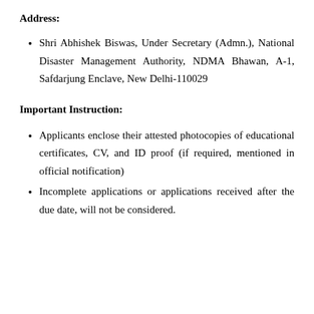Address:
Shri Abhishek Biswas, Under Secretary (Admn.), National Disaster Management Authority, NDMA Bhawan, A-1, Safdarjung Enclave, New Delhi-110029
Important Instruction:
Applicants enclose their attested photocopies of educational certificates, CV, and ID proof (if required, mentioned in official notification)
Incomplete applications or applications received after the due date, will not be considered.